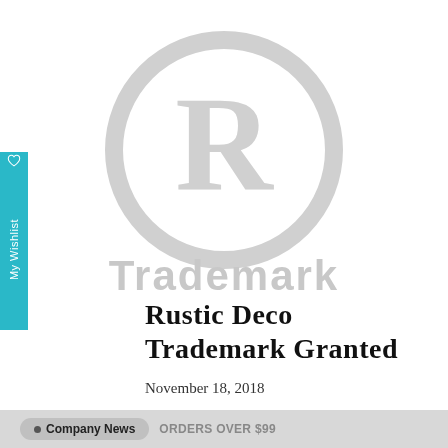[Figure (logo): Registered trademark symbol (circled R) in light gray with the word 'Trademark' below it in gray sans-serif text]
Rustic Deco Trademark Granted
November 18, 2018
Company News   ORDERS OVER $99